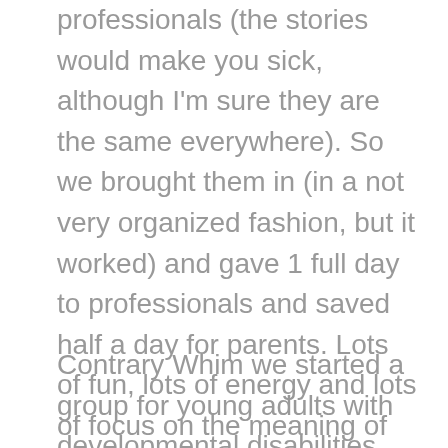professionals (the stories would make you sick, although I'm sure they are the same everywhere). So we brought them in (in a not very organized fashion, but it worked) and gave 1 full day to professionals and saved half a day for parents. Lots of fun, lots of energy and lots of focus on the meaning of inclusion. But we really were flying by the seat of our pants. And I had a partner...my continuing partner in crime Claire. We seem to work well together and dream up all sorts of fun projects that keep us laughing.
Contrary Whim we started a group for young adults with developmental disabilities (my partner in crime and I) to give them a chance to meet each other. We found that both our daughters in schools in separate parts of the city, were very alone...no one else included. So we wanted them to get a chance to